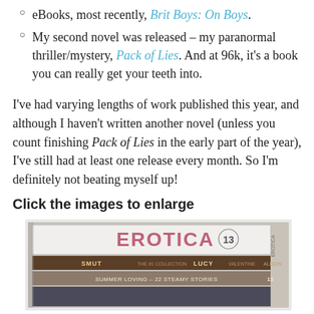eBooks, most recently, Brit Boys: On Boys.
My second novel was released – my paranormal thriller/mystery, Pack of Lies. And at 96k, it's a book you can really get your teeth into.
I've had varying lengths of work published this year, and although I haven't written another novel (unless you count finishing Pack of Lies in the early part of the year), I've still had at least one release every month. So I'm definitely not beating myself up!
Click the images to enlarge
[Figure (photo): Stack of books with spines showing: EROTICA 13 on top, then SMUT, LUCY, and SUMMER LOVING – 22 STEAMY STORIES below]